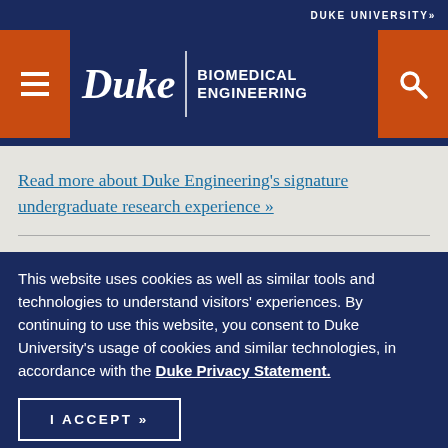DUKE UNIVERSITY»
[Figure (logo): Duke Biomedical Engineering header logo with hamburger menu button on left, Duke wordmark and Biomedical Engineering text in center, and search button on right, all on dark navy background with orange accent buttons]
Read more about Duke Engineering's signature undergraduate research experience »
This website uses cookies as well as similar tools and technologies to understand visitors' experiences. By continuing to use this website, you consent to Duke University's usage of cookies and similar technologies, in accordance with the Duke Privacy Statement.
I ACCEPT »